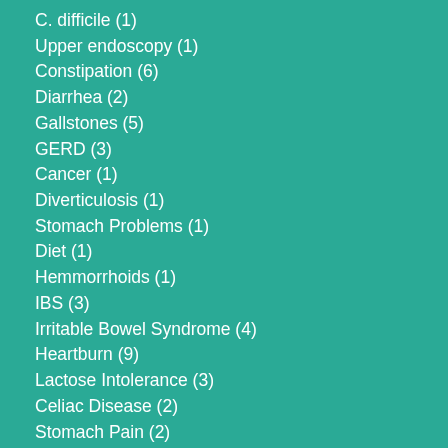C. difficile (1)
Upper endoscopy (1)
Constipation (6)
Diarrhea (2)
Gallstones (5)
GERD (3)
Cancer (1)
Diverticulosis (1)
Stomach Problems (1)
Diet (1)
Hemmorrhoids (1)
IBS (3)
Irritable Bowel Syndrome (4)
Heartburn (9)
Lactose Intolerance (3)
Celiac Disease (2)
Stomach Pain (2)
Acid Reflux (3)
Ulcer (3)
Colorectal Cancer (1)
Screening Colonoscopy (1)
Barrett's Esophagus (1)
Flexible Sigmoidoscopy (1)